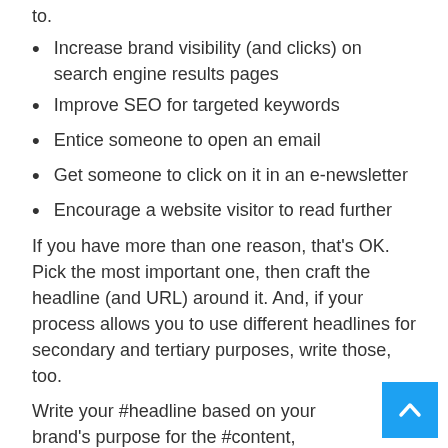to.
Increase brand visibility (and clicks) on search engine results pages
Improve SEO for targeted keywords
Entice someone to open an email
Get someone to click on it in an e-newsletter
Encourage a website visitor to read further
If you have more than one reason, that’s OK. Pick the most important one, then craft the headline (and URL) around it. And, if your process allows you to use different headlines for secondary and tertiary purposes, write those, too.
Write your #headline based on your brand’s purpose for the #content, says @AnnGynn via @CMICon @semrush. #WritingTips Click To Tweet